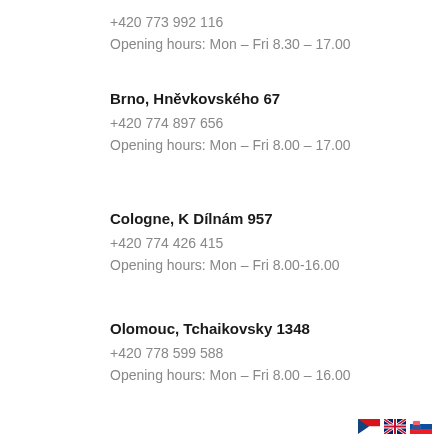+420 773 992 116
Opening hours: Mon – Fri 8.30 – 17.00
Brno, Hněvkovského 67
+420 774 897 656
Opening hours: Mon – Fri 8.00 – 17.00
Cologne, K Dílnám 957
+420 774 426 415
Opening hours: Mon – Fri 8.00-16.00
Olomouc, Tchaikovsky 1348
+420 778 599 588
Opening hours: Mon – Fri 8.00 – 16.00
[Figure (illustration): Three flag icons: Czech, UK, Slovak flags in bottom right corner]